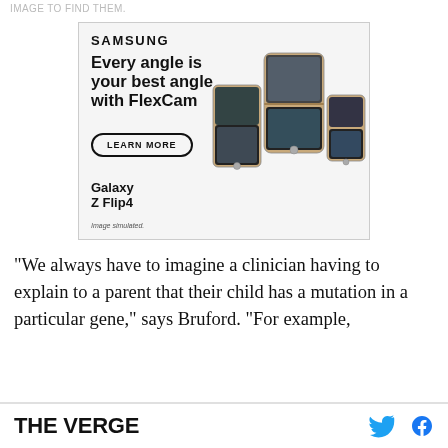IMAGE TO FIND THEM.
[Figure (advertisement): Samsung Galaxy Z Flip4 advertisement. Shows Samsung logo, headline 'Every angle is your best angle with FlexCam', a 'LEARN MORE' button, Galaxy Z Flip4 product name, 'Image simulated.' disclaimer, and images of multiple Samsung Galaxy Z Flip4 phones in gold/champagne color in various folded positions.]
“We always have to imagine a clinician having to explain to a parent that their child has a mutation in a particular gene,” says Bruford. “For example,
THE VERGE